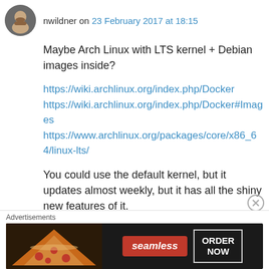nwildner on 23 February 2017 at 18:15
Maybe Arch Linux with LTS kernel + Debian images inside?
https://wiki.archlinux.org/index.php/Docker
https://wiki.archlinux.org/index.php/Docker#Images
https://www.archlinux.org/packages/core/x86_64/linux-lts/
You could use the default kernel, but it updates almost weekly, but it has all the shiny new features of it.
Advertisements